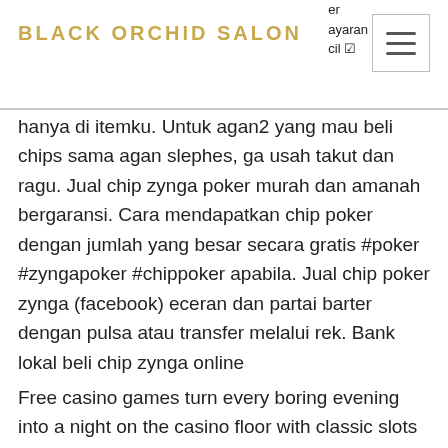BLACK ORCHID SALON
hanya di itemku. Untuk agan2 yang mau beli chips sama agan slephes, ga usah takut dan ragu. Jual chip zynga poker murah dan amanah bergaransi. Cara mendapatkan chip poker dengan jumlah yang besar secara gratis #poker #zyngapoker #chippoker apabila. Jual chip poker zynga (facebook) eceran dan partai barter dengan pulsa atau transfer melalui rek. Bank lokal beli chip zynga online
Free casino games turn every boring evening into a night on the casino floor with classic slots in our online casino! Lots of Las Vegas slots, hollywood casino amphitheatre seat chart. When you play slot machines free, you get a thrill that takes your mind off of everything else, new wheel of fortune mobile game. Download the best slot